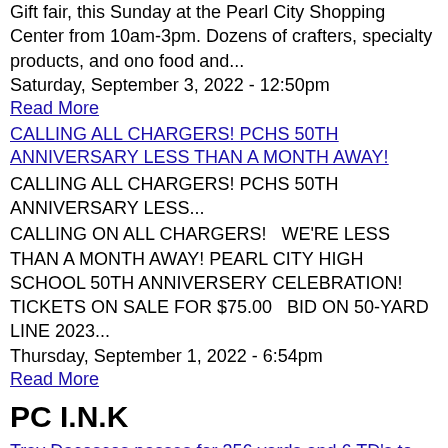Gift fair, this Sunday at the Pearl City Shopping Center from 10am-3pm. Dozens of crafters, specialty products, and ono food and...
Saturday, September 3, 2022 - 12:50pm
Read More
[Figure (other): Image link: CALLING ALL CHARGERS! PCHS 50TH ANNIVERSARY LESS THAN A MONTH AWAY!]
CALLING ALL CHARGERS! PCHS 50TH ANNIVERSARY LESS...
CALLING ON ALL CHARGERS!  WE'RE LESS THAN A MONTH AWAY! PEARL CITY HIGH SCHOOL 50TH ANNIVERSERY CELEBRATION!  TICKETS ON SALE FOR $75.00  BID ON 50-YARD LINE 2023...
Thursday, September 1, 2022 - 6:54pm
Read More
PC I.N.K
[Figure (other): Image link: Trey Dacoscos passes for 356 yards and 6 TD's to lead Pearl City over Kalaheo 44]
Trey Dacoscos passes for 356 yards and 6 TD's to lead Pearl City over Kalaheo 44-0
Sunday, September 4, 2022 - 7:25pm
The Pearl City Chargers Pearl City shut down Kalaheo Mustangs 44-0 last night in OIA D2 varsity football played at Kailua High